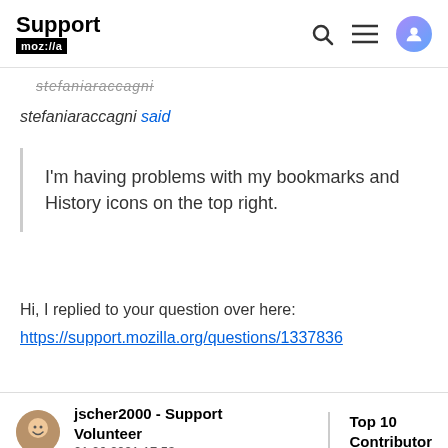Support mozilla://a
stefaniaraccagni said
I'm having problems with my bookmarks and History icons on the top right.
Hi, I replied to your question over here:
https://support.mozilla.org/questions/1337836
jscher2000 - Support Volunteer
01.06.2021 17.53
Top 10 Contributor